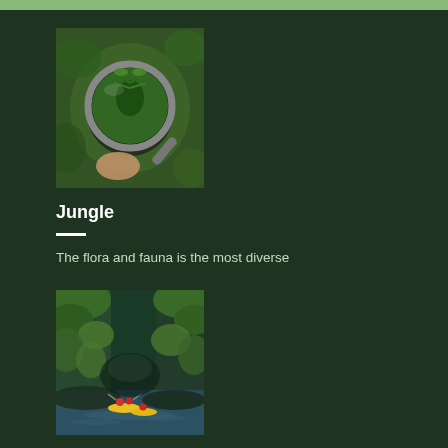[Figure (photo): A person holding a magnifying glass up to tropical jungle foliage, showing lush green plants through the lens]
Jungle
The flora and fauna is the most diverse
[Figure (photo): People in yellow kayaks paddling on a river through a dramatic green gorge with overhanging vegetation and rocky cliffs]
River
Pristine and diverse water make Tena ideal for river activities